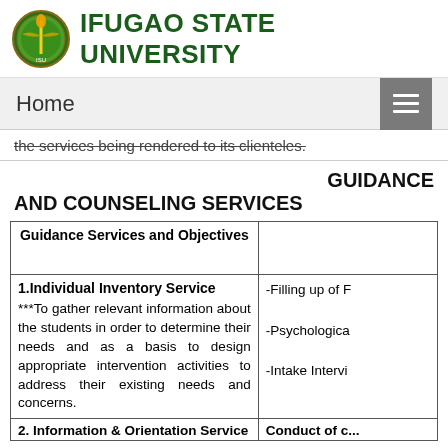IFUGAO STATE UNIVERSITY
Home
the services being rendered to its clienteles.
GUIDANCE AND COUNSELING SERVICES
| Guidance Services and Objectives |  |
| --- | --- |
| 1.Individual Inventory Service

***To gather relevant information about the students in order to determine their needs and as a basis to design appropriate intervention activities to address their existing needs and concerns. | -Filling up of I...
-Psychologica...
-Intake Intervi... |
| 2. Information & Orientation Service | Conduct of c... |